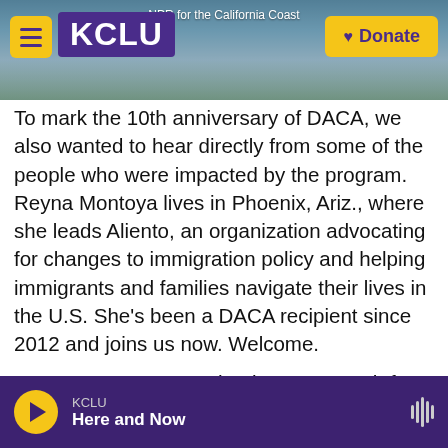KCLU — NPR for the California Coast
To mark the 10th anniversary of DACA, we also wanted to hear directly from some of the people who were impacted by the program. Reyna Montoya lives in Phoenix, Ariz., where she leads Aliento, an organization advocating for changes to immigration policy and helping immigrants and families navigate their lives in the U.S. She's been a DACA recipient since 2012 and joins us now. Welcome.
REYNA MONTOYA: Thank you so much for having me.
RASCOE: So how old were you when you arrived to
KCLU — Here and Now